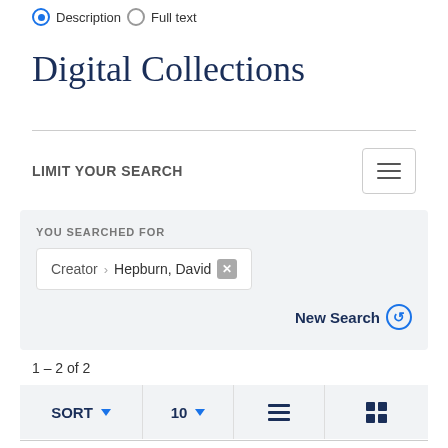Description  Full text
Digital Collections
LIMIT YOUR SEARCH
YOU SEARCHED FOR  Creator › Hepburn, David  ✕
New Search
1 – 2 of 2
SORT ▾   10 ▾   list-view   grid-view